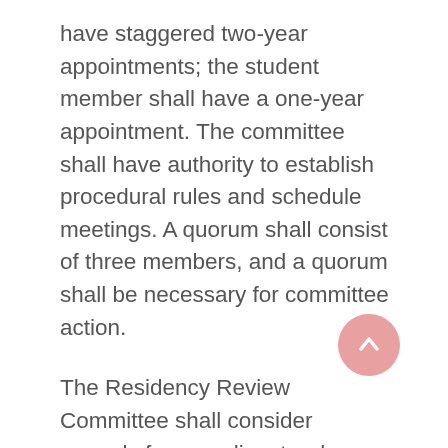have staggered two-year appointments; the student member shall have a one-year appointment. The committee shall have authority to establish procedural rules and schedule meetings. A quorum shall consist of three members, and a quorum shall be necessary for committee action.
The Residency Review Committee shall consider appeals from applicants whose initial request for change in residency status has been denied by the residency appeals officer based upon the applicant's written appeal and the file in that matter to the extent provided by the Family Educational Rights and Privacy Act, 1974 (FERPA). The applicant shall be notified in writing